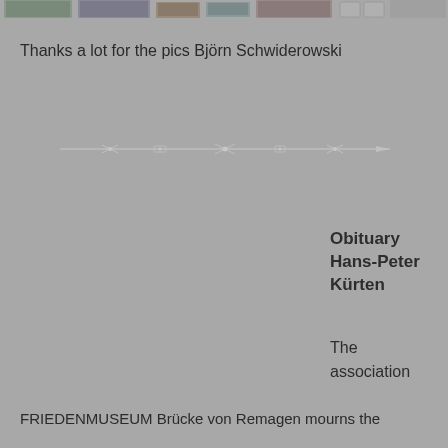[Figure (photo): Row of small thumbnail photos at the top of the page, partially visible, cropped]
Thanks a lot for the pics Björn Schwiderowski
[Figure (illustration): Decorative horizontal divider line with small ornamental elements along it, resembling barbed wire or decorative rule]
Obituary
Hans-Peter
Kürten
The
association
FRIEDENMUSEUM Brücke von Remagen mourns the